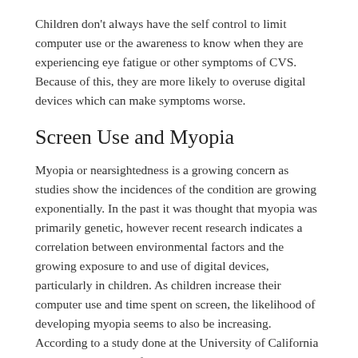Children don't always have the self control to limit computer use or the awareness to know when they are experiencing eye fatigue or other symptoms of CVS. Because of this, they are more likely to overuse digital devices which can make symptoms worse.
Screen Use and Myopia
Myopia or nearsightedness is a growing concern as studies show the incidences of the condition are growing exponentially. In the past it was thought that myopia was primarily genetic, however recent research indicates a correlation between environmental factors and the growing exposure to and use of digital devices, particularly in children. As children increase their computer use and time spent on screen, the likelihood of developing myopia seems to also be increasing. According to a study done at the University of California at Berkeley School of Optometry which researched the incidence of myopia in 253 children between 6 years old